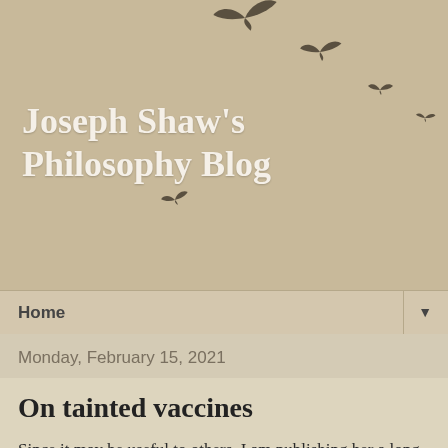Joseph Shaw's Philosophy Blog
Home ▼
Monday, February 15, 2021
On tainted vaccines
Since it may be useful to others, I am publishing her a long email reply to a question I received on this question in the context of the COVID vaccine (with very minor tweaks).
---------
The use of cell-lines from aborted babies in the development of vaccines is sadly of long standing, so the question has been asked, and answered, before. It is as you say a form of